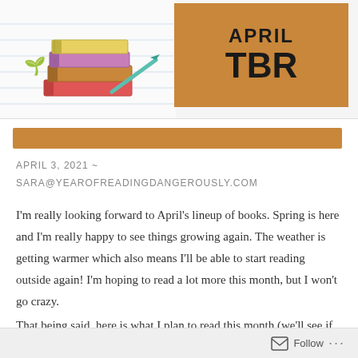[Figure (illustration): Stack of colorful books with a pen/pencil beside them, drawn in cartoon style on a lined paper background. A small plant sprout symbol is visible.]
TBR
[Figure (other): Orange/brown horizontal bar separator]
APRIL 3, 2021 ~
SARA@YEAROFREADINGDANGEROUSLY.COM
I'm really looking forward to April's lineup of books. Spring is here and I'm really happy to see things growing again. The weather is getting warmer which also means I'll be able to start reading outside again! I'm hoping to read a lot more this month, but I won't go crazy.
That being said, here is what I plan to read this month (we'll see if that actually happens!):
Follow